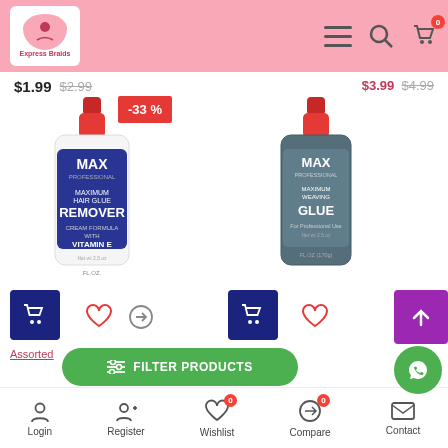[Figure (screenshot): E-commerce website header with pink background, logo 'Express Braids', hamburger menu, search icon, and cart icon with badge '0']
$3.99  $4.99
$1.99  $2.99
[Figure (photo): Max Professional Maximum Hair Glue Remover bottle with red cap, white bottle]
[Figure (photo): Max Professional Maximum Weaving Glue bottle with red cap, dark grey bottle]
-33 %
Assorted
Assorted
FILTER PRODUCTS
Fho Super Hair Bonding...
Fho Hair Bonding Glue 1...
Login  Register  Wishlist 0  Compare 0  Contact